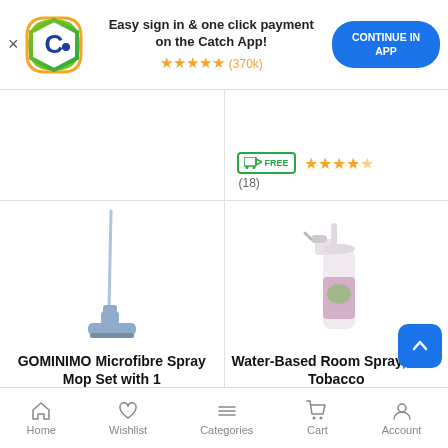[Figure (screenshot): Catch app banner with logo, text, star rating and continue button]
Easy sign in & one click payment on the Catch App!
★★★★★ (370k)
CONTINUE IN APP
[Figure (photo): Top-right product card showing FREE delivery badge and star rating (18)]
FREE ★★★★☆ (18)
[Figure (photo): GOMINIMO Microfibre Spray Mop product photo]
GOMINIMO Microfibre Spray Mop Set with 1
GOMINIMO
[Figure (photo): Water-Based Room Spray Anti-Tobacco product photo]
Water-Based Room Spray, Anti-Tobacco
Faberlic
Home  Wishlist  Categories  Cart  Account